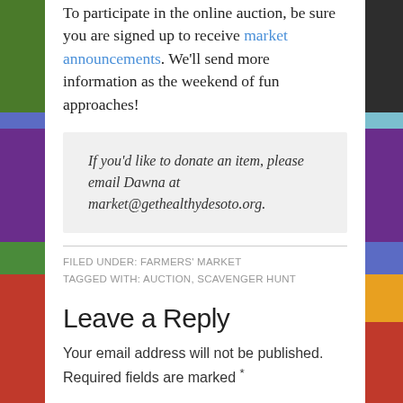To participate in the online auction, be sure you are signed up to receive market announcements. We'll send more information as the weekend of fun approaches!
If you'd like to donate an item, please email Dawna at market@gethealthydesoto.org.
FILED UNDER: FARMERS' MARKET
TAGGED WITH: AUCTION, SCAVENGER HUNT
Leave a Reply
Your email address will not be published. Required fields are marked *
Comment